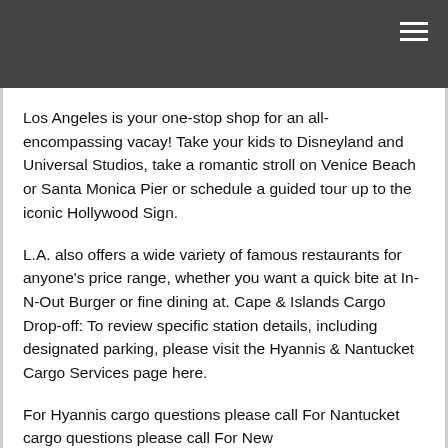Los Angeles is your one-stop shop for an all-encompassing vacay! Take your kids to Disneyland and Universal Studios, take a romantic stroll on Venice Beach or Santa Monica Pier or schedule a guided tour up to the iconic Hollywood Sign.
L.A. also offers a wide variety of famous restaurants for anyone's price range, whether you want a quick bite at In-N-Out Burger or fine dining at. Cape & Islands Cargo Drop-off: To review specific station details, including designated parking, please visit the Hyannis & Nantucket Cargo Services page here.
For Hyannis cargo questions please call For Nantucket cargo questions please call For New